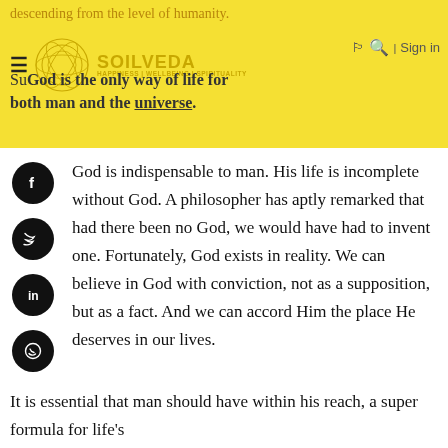descending from the level of humanity. Su[SOILVEDA]God is the only way of life for both man and the universe.
[Figure (logo): Soilveda logo with circular geometric design and text HAPPINESS | WELLBEING | SPIRITUALITY]
God is indispensable to man. His life is incomplete without God. A philosopher has aptly remarked that had there been no God, we would have had to invent one. Fortunately, God exists in reality. We can believe in God with conviction, not as a supposition, but as a fact. And we can accord Him the place He deserves in our lives.
It is essential that man should have within his reach, a super formula for life's